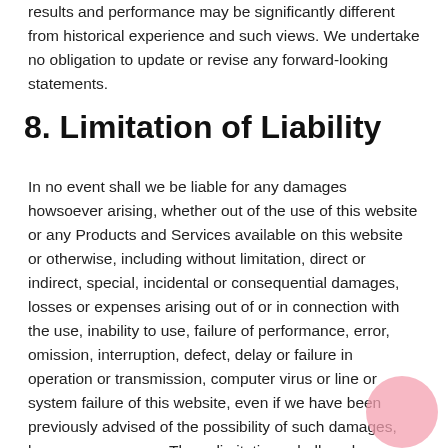results and performance may be significantly different from historical experience and such views. We undertake no obligation to update or revise any forward-looking statements.
8. Limitation of Liability
In no event shall we be liable for any damages howsoever arising, whether out of the use of this website or any Products and Services available on this website or otherwise, including without limitation, direct or indirect, special, incidental or consequential damages, losses or expenses arising out of or in connection with the use, inability to use, failure of performance, error, omission, interruption, defect, delay or failure in operation or transmission, computer virus or line or system failure of this website, even if we have been previously advised of the possibility of such damages, losses or expenses. These limitations shall apply notwithstanding any failure or essential purpose of any limited remedy.